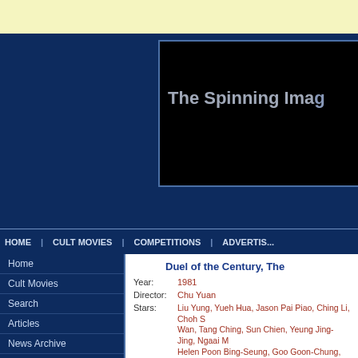The Spinning Image
HOME | CULT MOVIES | COMPETITIONS | ADVERTIS...
Home
Cult Movies
Search
Articles
News Archive
Newsletters
Polls
Competitions
Links
Advertise
Duel of the Century, The
Year: 1981
Director: Chu Yuan
Stars: Liu Yung, Yueh Hua, Jason Pai Piao, Ching Li, Choh S Wan, Tang Ching, Sun Chien, Yeung Jing-Jing, Ngaai M Helen Poon Bing-Seung, Goo Goon-Chung, Lam Fai W Wong Yung
Genre: Martial Arts, Fantasy, Adventure
Rating: 6 (from 1 vote)
Review: Ace detective Lu Xiaofeng (Liu Yung) and blind-but-int... perplexed why Ye Gucheng (Jason Pai Piao), a swords... challenged righteous hero Shimen Chuishiue (Yueh Hu... the Imperial court. When questioned why he wants Shi... frustratingly evasive. Torn between his respect for both... and uncovers an elaborate conspiracy involving impos... lurking around every corner.

The Duel of the Century marked the second Shaw Bro... sleuth Lu Xiaofeng for director Chu Yuan, following the...